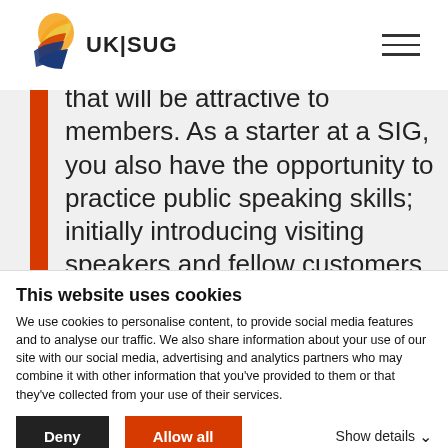[Figure (logo): UKISUG logo with colorful bird/shield icon]
that will be attractive to members. As a starter at a SIG, you also have the opportunity to practice public speaking skills; initially introducing visiting speakers and fellow customers, through to presenting full sessions based on your own
This website uses cookies
We use cookies to personalise content, to provide social media features and to analyse our traffic. We also share information about your use of our site with our social media, advertising and analytics partners who may combine it with other information that you've provided to them or that they've collected from your use of their services.
Deny | Allow all | Show details